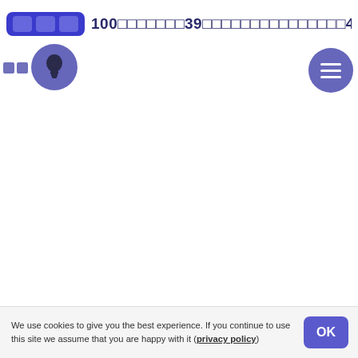100□□□□□□□39□□□□□□□□□□□□□□□464.62□
[Figure (screenshot): Web app UI header with blue button group, lightbulb icon circle, text title with garbled unicode characters, and hamburger menu circle button on right]
We use cookies to give you the best experience. If you continue to use this site we assume that you are happy with it (privacy policy)